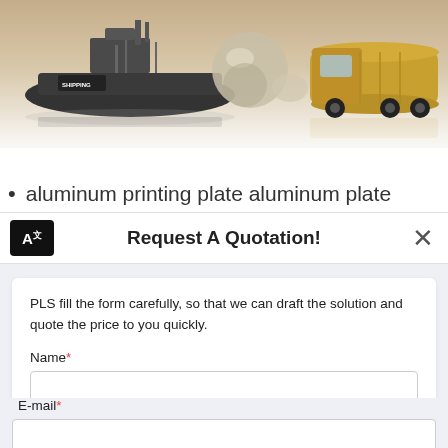[Figure (photo): Top portion of a webpage showing product images: a dark shipping vessel model on the left, various reflective objects in the center, and a large yellow truck/tanker on the right, with a reflective white surface below them.]
aluminum printing plate aluminum plate
Request A Quotation!
PLS fill the form carefully, so that we can draft the solution and quote the price to you quickly.
Name*
E-mail*